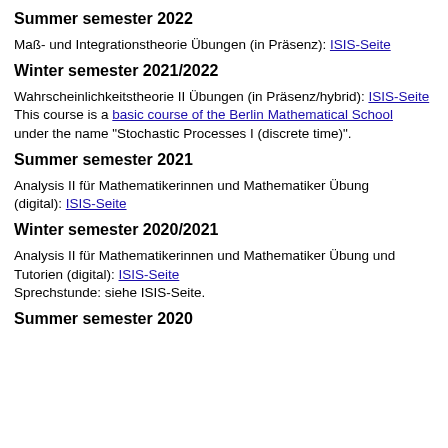Summer semester 2022
Maß- und Integrationstheorie Übungen (in Präsenz): ISIS-Seite
Winter semester 2021/2022
Wahrscheinlichkeitstheorie II Übungen (in Präsenz/hybrid): ISIS-Seite
This course is a basic course of the Berlin Mathematical School under the name "Stochastic Processes I (discrete time)".
Summer semester 2021
Analysis II für Mathematikerinnen und Mathematiker Übung (digital): ISIS-Seite
Winter semester 2020/2021
Analysis II für Mathematikerinnen und Mathematiker Übung und Tutorien (digital): ISIS-Seite
Sprechstunde: siehe ISIS-Seite.
Summer semester 2020